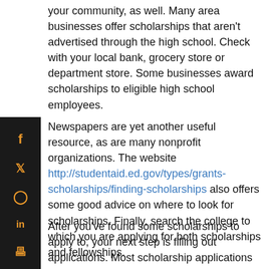your community, as well. Many area businesses offer scholarships that aren't advertised through the high school. Check with your local bank, grocery store or department store. Some businesses award scholarships to eligible high school employees.
[Figure (other): Vertical dark sidebar with social media icons (Facebook, Twitter, Pinterest, LinkedIn, Print) in orange on black background]
Newspapers are yet another useful resource, as are many nonprofit organizations. The website http://studentaid.ed.gov/types/grants-scholarships/finding-scholarships also offers some good advice on where to look for scholarships. Finally, search the college to which you are applying for both scholarships and fellowships.
After you've found some scholarships to apply to, your next step is filling out applications. Most scholarship applications involve writing a short essay or describing a course of action that you'll take. When it comes to writing the essays, plan out what you want to say before you start writing—don't take the same approach you use when you're writing an English paper